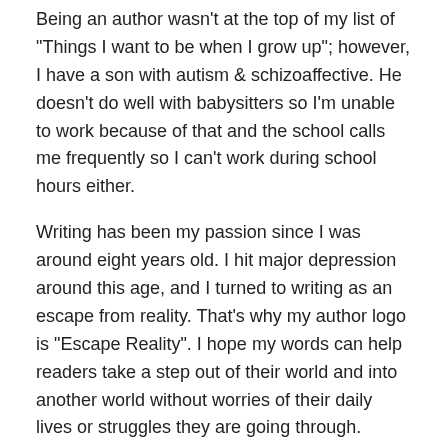Being an author wasn't at the top of my list of “Things I want to be when I grow up”; however, I have a son with autism & schizoaffective. He doesn't do well with babysitters so I'm unable to work because of that and the school calls me frequently so I can't work during school hours either.
Writing has been my passion since I was around eight years old. I hit major depression around this age, and I turned to writing as an escape from reality. That's why my author logo is “Escape Reality”. I hope my words can help readers take a step out of their world and into another world without worries of their daily lives or struggles they are going through.
Sorry. I’m rambling.
◦